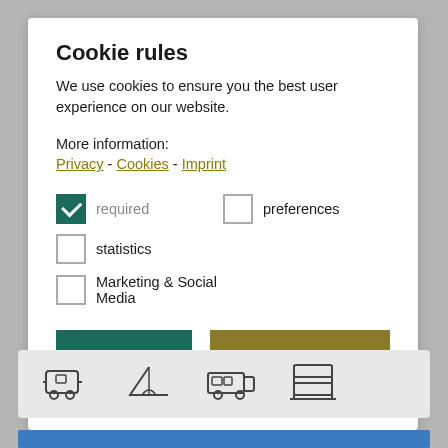Cookie rules
We use cookies to ensure you the best user experience on our website.
More information:
Privacy - Cookies - Imprint
required (checked)
preferences (unchecked)
statistics (unchecked)
Marketing & Social Media (unchecked)
CONFIRM SELECTION
ALLOW ALL
[Figure (illustration): Four camping/accommodation icons: caravan trailer, tent, motorhome/RV, bunk bed]